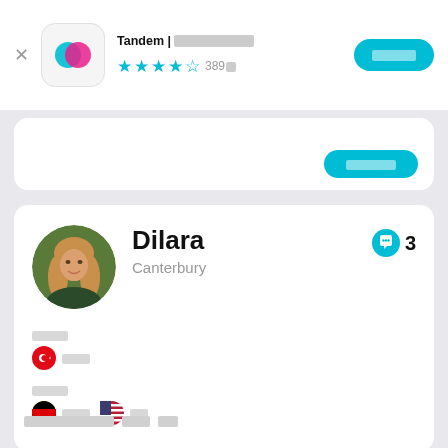[Figure (screenshot): Tandem app icon with teal and pink overlapping circles on white rounded square background]
Tandem | ■■■■ ■■■ ■■■ ■■■■
★★★★½ 389■
■■■■ (install button)
[Figure (screenshot): Profile card of user Dilara from Canterbury with female photo avatar, quote badge showing 3, language sections showing Turkish native and German/English learning]
Dilara
Canterbury
3
■■■■
🇹🇷 ■■■
■■■■
🇩🇪 ■■■  🇺🇸 ■■
■■■■■■ ■■ ■■